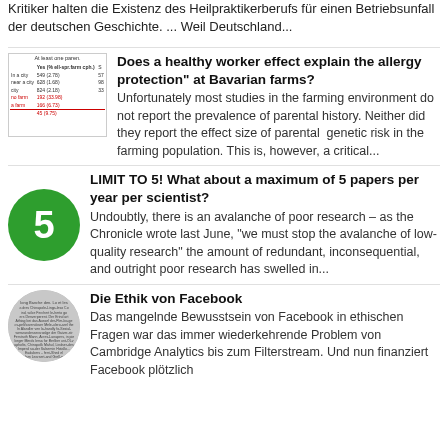Kritiker halten die Existenz des Heilpraktikerberufs für einen Betriebsunfall der deutschen Geschichte. ... Weil Deutschland...
[Figure (table-as-image): Small thumbnail of a research table with red-highlighted rows showing farm allergy data]
Does a healthy worker effect explain the allergy protection" at Bavarian farms?
Unfortunately most studies in the farming environment do not report the prevalence of parental history. Neither did they report the effect size of parental  genetic risk in the farming population. This is, however, a critical...
[Figure (infographic): Green circle with number 5]
LIMIT TO 5! What about a maximum of 5 papers per year per scientist?
Undoubtly, there is an avalanche of poor research – as the Chronicle wrote last June, "we must stop the avalanche of low-quality research" the amount of redundant, inconsequential, and outright poor research has swelled in...
[Figure (photo): Circular grayscale thumbnail of a newspaper or article page with dense text]
Die Ethik von Facebook
Das mangelnde Bewusstsein von Facebook in ethischen Fragen war das immer wiederkehrende Problem von Cambridge Analytics bis zum Filterstream. Und nun finanziert Facebook plötzlich